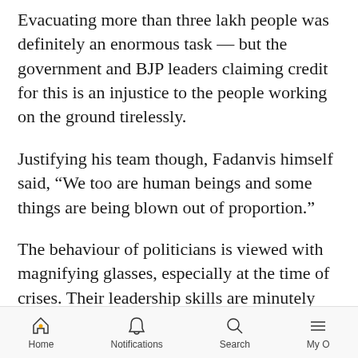Evacuating more than three lakh people was definitely an enormous task — but the government and BJP leaders claiming credit for this is an injustice to the people working on the ground tirelessly.
Justifying his team though, Fadanvis himself said, “We too are human beings and some things are being blown out of proportion.”
The behaviour of politicians is viewed with magnifying glasses, especially at the time of crises. Their leadership skills are minutely examined at such times. They are elected as leaders for a reason.
When a party is in Opposition, it seizes every
Home  Notifications  Search  My O